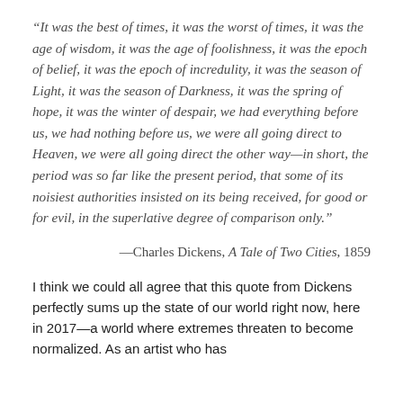“It was the best of times, it was the worst of times, it was the age of wisdom, it was the age of foolishness, it was the epoch of belief, it was the epoch of incredulity, it was the season of Light, it was the season of Darkness, it was the spring of hope, it was the winter of despair, we had everything before us, we had nothing before us, we were all going direct to Heaven, we were all going direct the other way—in short, the period was so far like the present period, that some of its noisiest authorities insisted on its being received, for good or for evil, in the superlative degree of comparison only.”
—Charles Dickens, A Tale of Two Cities, 1859
I think we could all agree that this quote from Dickens perfectly sums up the state of our world right now, here in 2017—a world where extremes threaten to become normalized. As an artist who has